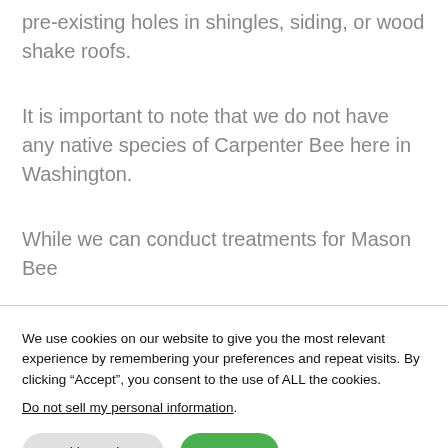pre-existing holes in shingles, siding, or wood shake roofs.
It is important to note that we do not have any native species of Carpenter Bee here in Washington.
While we can conduct treatments for Mason Bee
We use cookies on our website to give you the most relevant experience by remembering your preferences and repeat visits. By clicking “Accept”, you consent to the use of ALL the cookies.
Do not sell my personal information.